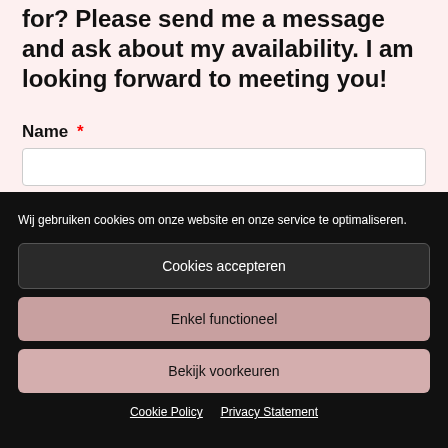for? Please send me a message and ask about my availability. I am looking forward to meeting you!
Name *
Wij gebruiken cookies om onze website en onze service te optimaliseren.
Cookies accepteren
Enkel functioneel
Bekijk voorkeuren
Cookie Policy  Privacy Statement